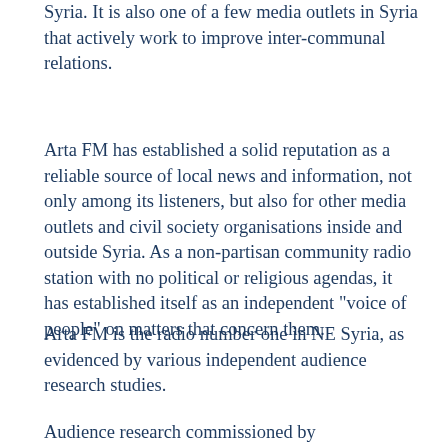Syria. It is also one of a few media outlets in Syria that actively work to improve inter-communal relations.
Arta FM has established a solid reputation as a reliable source of local news and information, not only among its listeners, but also for other media outlets and civil society organisations inside and outside Syria. As a non-partisan community radio station with no political or religious agendas, it has established itself as an independent “voice of people” on matters that concern them.
Arta FM is the radio number one in NE Syria, as evidenced by various independent audience research studies.
Audience research commissioned by